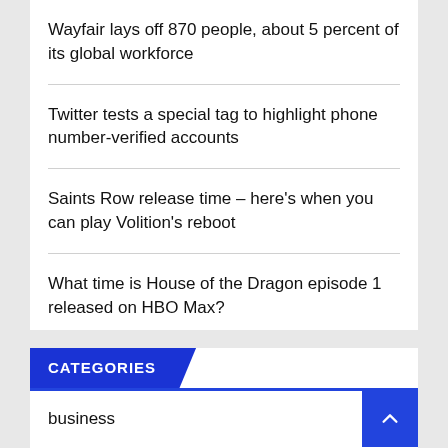Wayfair lays off 870 people, about 5 percent of its global workforce
Twitter tests a special tag to highlight phone number-verified accounts
Saints Row release time – here's when you can play Volition's reboot
What time is House of the Dragon episode 1 released on HBO Max?
CATEGORIES
business